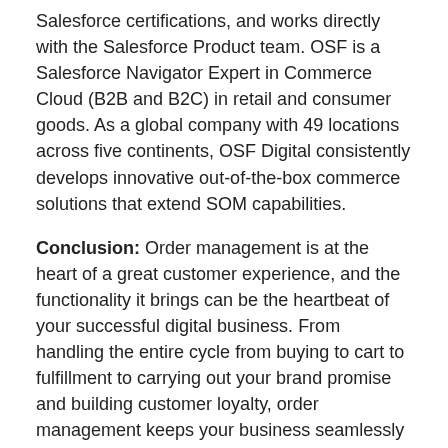Salesforce certifications, and works directly with the Salesforce Product team. OSF is a Salesforce Navigator Expert in Commerce Cloud (B2B and B2C) in retail and consumer goods. As a global company with 49 locations across five continents, OSF Digital consistently develops innovative out-of-the-box commerce solutions that extend SOM capabilities.
Conclusion: Order management is at the heart of a great customer experience, and the functionality it brings can be the heartbeat of your successful digital business. From handling the entire cycle from buying to cart to fulfillment to carrying out your brand promise and building customer loyalty, order management keeps your business seamlessly running to remain competitive. Getting an order wrong on a first-time customer can result in bad reviews and negative recommendations. To future-proof your organization by providing innovation and loyalty your customers deserve, start with a best-in-class OMS technology like Salesforce Order Management.